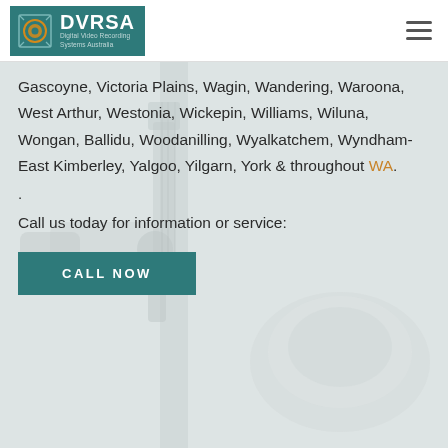[Figure (logo): DVRSA - Digital Video Recording Systems Australia logo on teal/dark cyan background with circular camera icon]
Gascoyne, Victoria Plains, Wagin, Wandering, Waroona, West Arthur, Westonia, Wickepin, Williams, Wiluna, Wongan, Ballidu, Woodanilling, Wyalkatchem, Wyndham-East Kimberley, Yalgoo, Yilgarn, York & throughout WA.
.
Call us today for information or service:
[Figure (photo): Background photo of security cameras (PTZ dome camera and bullet camera on pole) in light grey/white tones]
CALL NOW